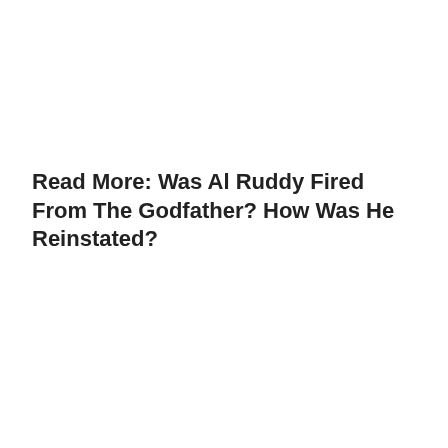Read More: Was Al Ruddy Fired From The Godfather? How Was He Reinstated?